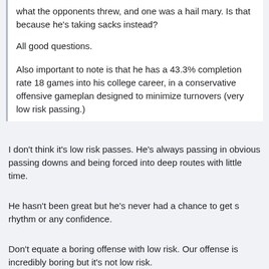what the opponents threw, and one was a hail mary. Is that because he's taking sacks instead?
All good questions.
Also important to note is that he has a 43.3% completion rate 18 games into his college career, in a conservative offensive gameplan designed to minimize turnovers (very low risk passing.)
I don't think it's low risk passes. He's always passing in obvious passing downs and being forced into deep routes with little time.
He hasn't been great but he's never had a chance to get s rhythm or any confidence.
Don't equate a boring offense with low risk. Our offense is incredibly boring but it's not low risk.